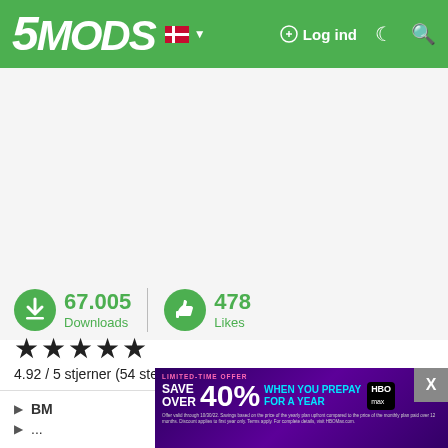5MODS — Log ind
67.005 Downloads | 478 Likes
4.92 / 5 stjerner (54 stemer)
BM...
[Figure (screenshot): HBO Max advertisement banner: LIMITED-TIME OFFER — SAVE OVER 40% WHEN YOU PREPAY FOR A YEAR. HBO Max sign up now. Fine print about discount terms.]